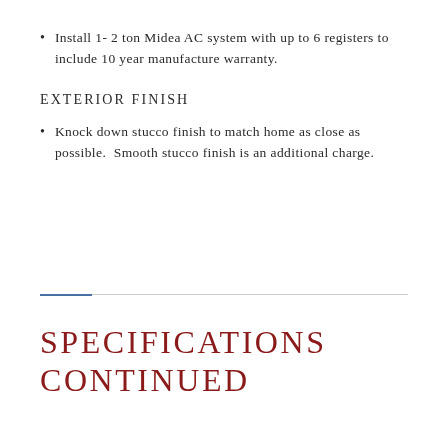Install 1- 2 ton Midea AC system with up to 6 registers to include 10 year manufacture warranty.
EXTERIOR FINISH
Knock down stucco finish to match home as close as possible. Smooth stucco finish is an additional charge.
SPECIFICATIONS CONTINUED